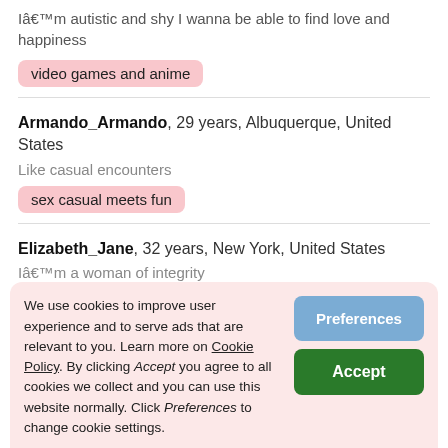Iâ€™m autistic and shy I wanna be able to find love and happiness
video games and anime
Armando_Armando, 29 years, Albuquerque, United States
Like casual encounters
sex casual meets fun
Elizabeth_Jane, 32 years, New York, United States
Iâ€™m a woman of integrity
outdoors
movies
museums
music
We use cookies to improve user experience and to serve ads that are relevant to you. Learn more on Cookie Policy. By clicking Accept you agree to all cookies we collect and you can use this website normally. Click Preferences to change cookie settings.
adventurer and loves to travel a lot. Iâ€™m seeking a